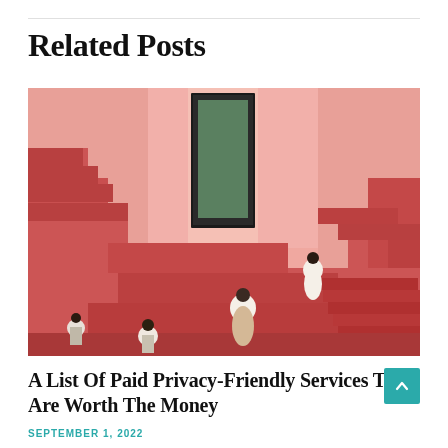Related Posts
[Figure (photo): People walking through an architectural maze of pink and red geometric stepped walls and platforms, with green trees visible through openings above.]
A List Of Paid Privacy-Friendly Services That Are Worth The Money
SEPTEMBER 1, 2022